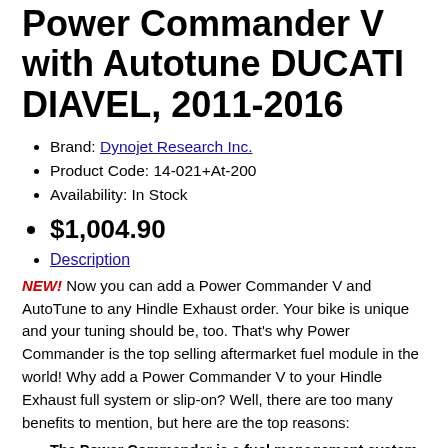Power Commander V with Autotune DUCATI DIAVEL, 2011-2016
Brand: Dynojet Research Inc.
Product Code: 14-021+At-200
Availability: In Stock
$1,004.90
Description
NEW! Now you can add a Power Commander V and AutoTune to any Hindle Exhaust order. Your bike is unique and your tuning should be, too. That's why Power Commander is the top selling aftermarket fuel module in the world! Why add a Power Commander V to your Hindle Exhaust full system or slip-on? Well, there are too many benefits to mention, but here are the top reasons:
The Power Commander is a fuel management system for your bike that helps the rider get the best performance of their machine.
The Power Commander is like an electronic jet kit that that helps to